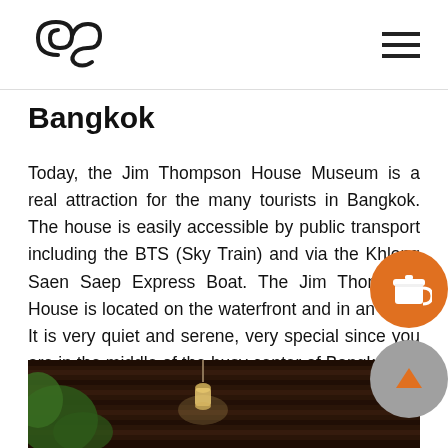[Logo] [Hamburger menu]
Bangkok
Today, the Jim Thompson House Museum is a real attraction for the many tourists in Bangkok. The house is easily accessible by public transport including the BTS (Sky Train) and via the Khlong Saen Saep Express Boat. The Jim Thompson House is located on the waterfront and in an alley. It is very quiet and serene, very special since you are in the middle of the busy center of Bangkok.
[Figure (photo): Photograph of the Jim Thompson House showing a dark wooden roof/veranda with hanging lamp and tropical greenery on the left side]